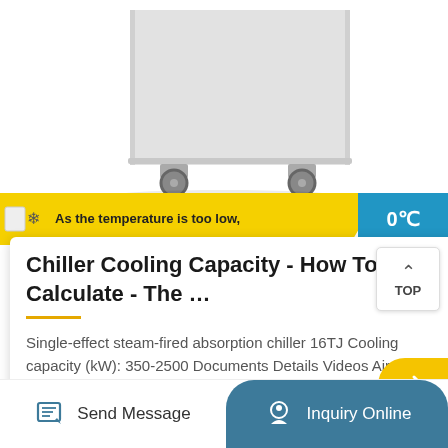[Figure (photo): White refrigeration/chiller appliance on wheels, bottom portion visible showing two caster wheels against white background]
As the temperature is too low,
Chiller Cooling Capacity - How To Calculate - The …
Single-effect steam-fired absorption chiller 16TJ Cooling capacity (kW): 350-2500 Documents Details Videos Air conditioning Air-cooled chillers Water-cooled chillers Absorption chillers Air-cooled dry coolers Gasketed pl…
Send Message
Inquiry Online